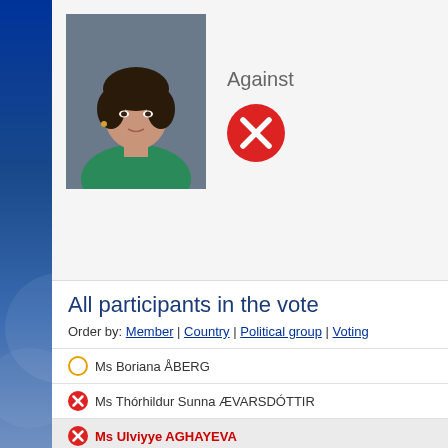[Figure (photo): Headshot photo of Ms Ulviyye AGHAYEVA, a woman with dark hair, wearing a green jacket]
Against
All participants in the vote
Order by: Member | Country | Political group | Voting
Ms Boriana ÅBERG (abstain)
Ms Thórhildur Sunna ÆVARSDÓTTIR (against)
Ms Ulviyye AGHAYEVA (against) — highlighted
Ms Gökay AKBULUT (against)
Mr Ziya ALTUNYALDIZ (against)